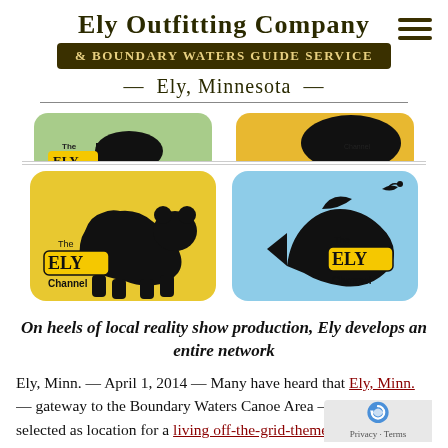Ely Outfitting Company & Boundary Waters Guide Service — Ely, Minnesota
[Figure (illustration): Four 'Ely Channel' branded logos in a 2x2 grid. Top row (partially visible): green and yellow/gold rounded-rectangle badges with animal silhouettes. Bottom row: yellow badge with black bear silhouette and 'The Ely Channel' logo; light blue badge with black fish/trout silhouette and 'The Ely Channel' logo.]
On heels of local reality show production, Ely develops an entire network
Ely, Minn. — April 1, 2014 — Many have heard that Ely, Minn. — gateway to the Boundary Waters Canoe Area — has been selected as location for a living off-the-grid-themed reality